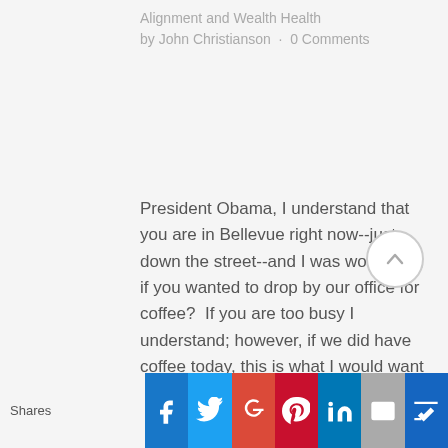Alignment and Wealth Health by John Christianson · 0 Comments
President Obama, I understand that you are in Bellevue right now--just down the street--and I was wondering if you wanted to drop by our office for coffee?  If you are too busy I understand; however, if we did have coffee today, this is what I would want to say to you. I...
[Figure (other): READ MORE button — dark navy rectangle with white uppercase text]
[Figure (other): Scroll-up arrow button — circular with upward arrow]
[Figure (other): Social sharing bar with icons: Facebook, Twitter, Google+, Pinterest, LinkedIn, Email, and a crown icon. Label 'Shares' on the left.]